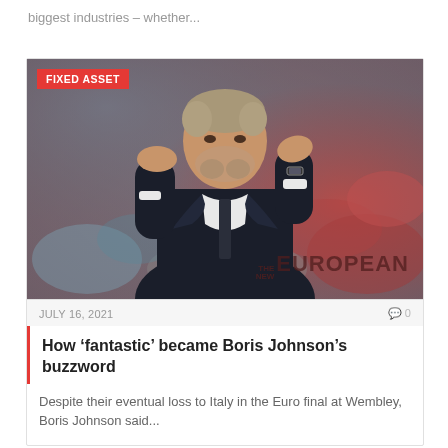biggest industries – whether...
[Figure (photo): Man in dark suit clapping, with hand raised to forehead, photographed in front of a blurred crowd background with red and teal colors. Watermark reads THE NEW EUROPEAN. Badge reads FIXED ASSET.]
JULY 16, 2021   🗨 0
How 'fantastic' became Boris Johnson's buzzword
Despite their eventual loss to Italy in the Euro final at Wembley, Boris Johnson said...